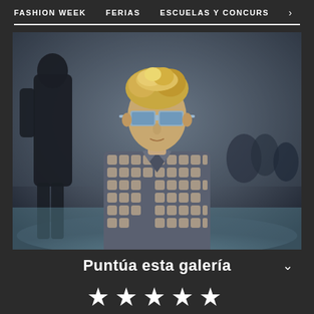FASHION WEEK   FERIAS   ESCUELAS Y CONCURS   >
[Figure (photo): Male model on fashion runway wearing geometric-pattern jacket and light blue square sunglasses, blond hair, crowd and another model in background]
Puntúa esta galería
[Figure (infographic): Five white star rating icons]